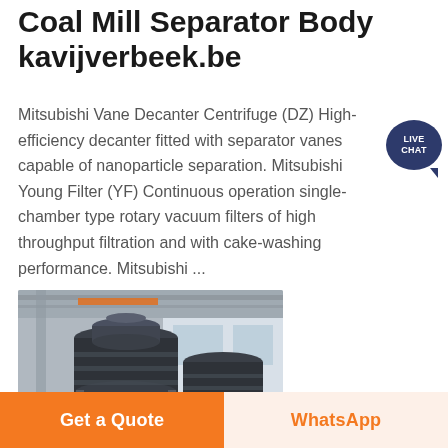Coal Mill Separator Body kavijverbeek.be
Mitsubishi Vane Decanter Centrifuge (DZ) High-efficiency decanter fitted with separator vanes capable of nanoparticle separation. Mitsubishi Young Filter (YF) Continuous operation single-chamber type rotary vacuum filters of high throughput filtration and with cake-washing performance. Mitsubishi ...
[Figure (photo): Industrial coal mill separator machinery in a factory setting, large dark cylindrical equipment with red components on the base, industrial building interior visible in background]
Get a Quote
WhatsApp